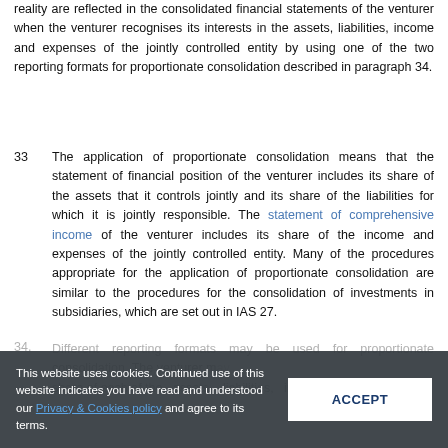reality are reflected in the consolidated financial statements of the venturer when the venturer recognises its interests in the assets, liabilities, income and expenses of the jointly controlled entity by using one of the two reporting formats for proportionate consolidation described in paragraph 34.
33  The application of proportionate consolidation means that the statement of financial position of the venturer includes its share of the assets that it controls jointly and its share of the liabilities for which it is jointly responsible. The statement of comprehensive income of the venturer includes its share of the income and expenses of the jointly controlled entity. Many of the procedures appropriate for the application of proportionate consolidation are similar to the procedures for the consolidation of investments in subsidiaries, which are set out in IAS 27.
34.  Different reporting formats may be used for proportionate consolidation. The venturer may share of each of the assets, liabilities, income and
This website uses cookies. Continued use of this website indicates you have read and understood our Privacy & Cookies policy and agree to its terms. ACCEPT